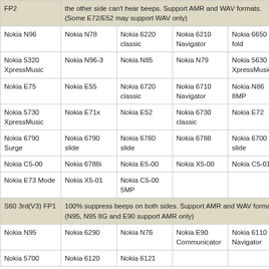| FP2 | the other side can't hear beeps. Support AMR and WAV formats. (Some E72/E52 may support WAV only) |  |  |  |
| Nokia N96 | Nokia N78 | Nokia 6220 classic | Nokia 6210 Navigator | Nokia 6650 fold |
| Nokia 5320 XpressMusic | Nokia N96-3 | Nokia N85 | Nokia N79 | Nokia 5630 XpressMusic |
| Nokia E75 | Nokia E55 | Nokia 6720 classic | Nokia 6710 Navigator | Nokia N86 8MP |
| Nokia 5730 XpressMusic | Nokia E71x | Nokia E52 | Nokia 6730 classic | Nokia E72 |
| Nokia 6790 Surge | Nokia 6790 slide | Nokia 6760 slide | Nokia 6788 | Nokia 6700 slide |
| Nokia C5-00 | Nokia 6788i | Nokia E5-00 | Nokia X5-00 | Nokia C5-01 |
| Nokia E73 Mode | Nokia X5-01 | Nokia C5-00 5MP |  |  |
| S60 3rd(V3) FP1 | 100% suppress beeps on both sides. Support AMR and WAV formats. (N95, N95 8G and E90 support AMR only) |  |  |  |
| Nokia N95 | Nokia 6290 | Nokia N76 | Nokia E90 Communicator | Nokia 6110 Navigator |
| Nokia 5700 | Nokia 6120 | Nokia 6121 |  |  |